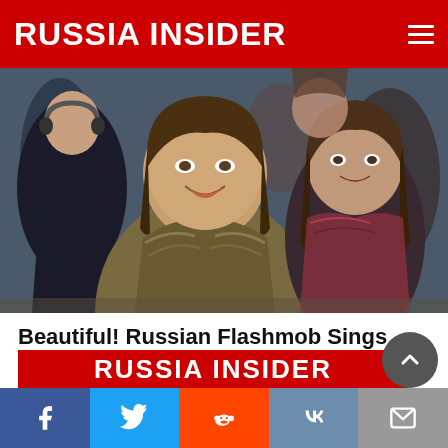RUSSIA INSIDER
[Figure (photo): Crowd of young people singing and smiling, possibly at a flashmob event in Russia.]
Beautiful! Russian Flashmob Sings Famous WW2 Song (Smuglyanka)
Mark Boden 🔥 64,074 💬 Comments